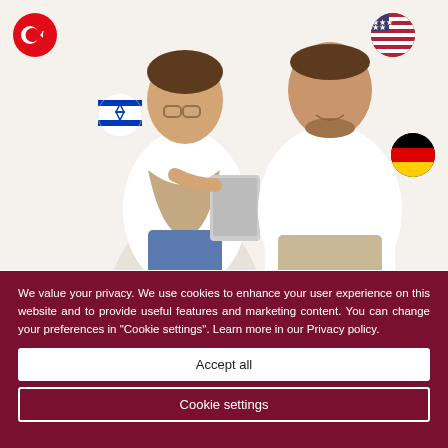[Figure (photo): Two people (woman with glasses holding a tablet, man in white t-shirt) smiling and looking at the tablet, with circular flag icons (Turkish, Israeli, American, German) overlaid around them on a white background.]
We value your privacy. We use cookies to enhance your user experience on this website and to provide useful features and marketing content. You can change your preferences in "Cookie settings". Learn more in our Privacy policy.
Accept all
Cookie settings